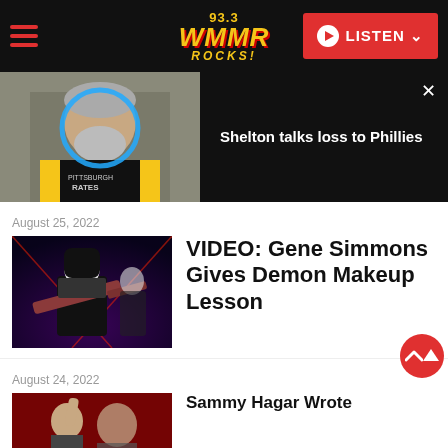93.3 WMMR ROCKS!
[Figure (screenshot): Video thumbnail of a man in Pittsburgh Pirates gear with a blue circle overlay, with text 'Shelton talks loss to Phillies']
Shelton talks loss to Phillies
August 25, 2022
[Figure (photo): Gene Simmons performing on stage in Demon makeup with KISS, playing guitar]
VIDEO: Gene Simmons Gives Demon Makeup Lesson
August 24, 2022
[Figure (photo): Sammy Hagar photo, partially visible]
Sammy Hagar Wrote